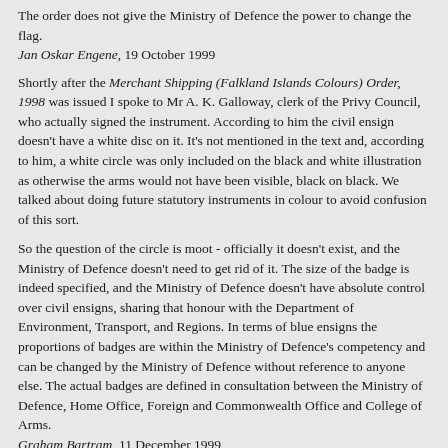The order does not give the Ministry of Defence the power to change the flag.
Jan Oskar Engene, 19 October 1999
Shortly after the Merchant Shipping (Falkland Islands Colours) Order, 1998 was issued I spoke to Mr A. K. Galloway, clerk of the Privy Council, who actually signed the instrument. According to him the civil ensign doesn't have a white disc on it. It's not mentioned in the text and, according to him, a white circle was only included on the black and white illustration as otherwise the arms would not have been visible, black on black. We talked about doing future statutory instruments in colour to avoid confusion of this sort.
So the question of the circle is moot - officially it doesn't exist, and the Ministry of Defence doesn't need to get rid of it. The size of the badge is indeed specified, and the Ministry of Defence doesn't have absolute control over civil ensigns, sharing that honour with the Department of Environment, Transport, and Regions. In terms of blue ensigns the proportions of badges are within the Ministry of Defence's competency and can be changed by the Ministry of Defence without reference to anyone else. The actual badges are defined in consultation between the Ministry of Defence, Home Office, Foreign and Commonwealth Office and College of Arms.
Graham Bartram, 11 December 1999